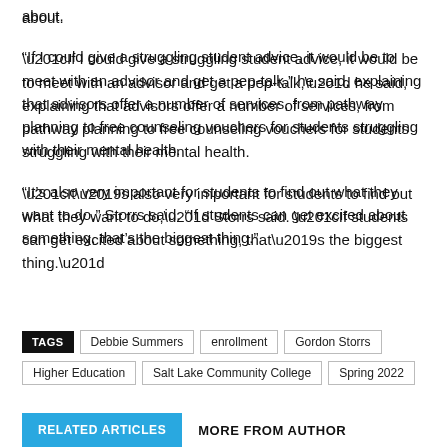“If I could give a struggling student advice, it would be to meet with an advisor and get a pep-talk,” he said, explaining that advisors offer a number of services, from pathway planning to free counseling vouchers for students struggling with their mental health.
“It’s also very important for students to find out what they want to do,” Storrs said. “If students can get excited about something, that’s the biggest thing.”
TAGS: Debbie Summers | enrollment | Gordon Storrs | Higher Education | Salt Lake Community College | Spring 2022
RELATED ARTICLES   MORE FROM AUTHOR